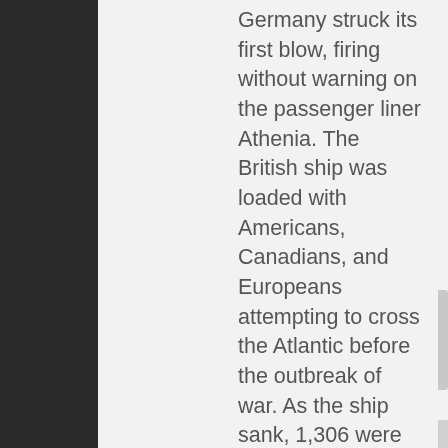Germany struck its first blow, firing without warning on the passenger liner Athenia. The British ship was loaded with Americans, Canadians, and Europeans attempting to cross the Atlantic before the outbreak of war. As the ship sank, 1,306 were rescued but 112 people were lost, including thirty Americans. This account of the disaster, based on new research, tells a dramatic story of tragedy and triumph, as historian Francis Carroll chronicles the survivors' experiences and explains how the incident shaped policy in the U.S., UK, and Canada. For Britain, it was seen as a violation of international law and convoys were sent to protect shipping. In Canada, Athenia's sinking rallied support to go to war. In the United States, it exposed Germany as a serious threat and changed public opinion enough to allow the country to sell munitions and supplies to Britain and France. 256 pages, 22 pages of b/w photographs.